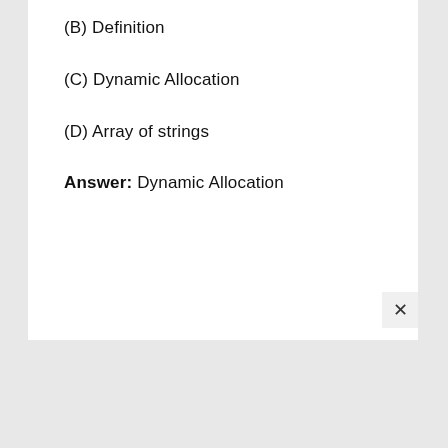(B) Definition
(C) Dynamic Allocation
(D) Array of strings
Answer: Dynamic Allocation